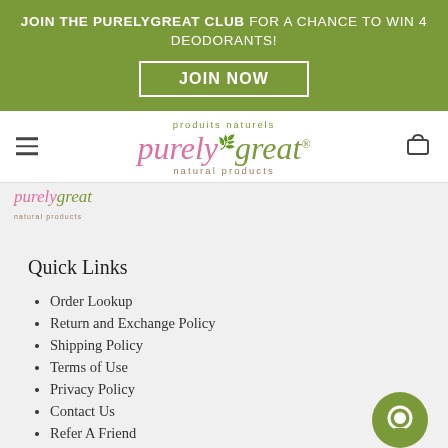JOIN THE PURELYGREAT CLUB FOR A CHANCE TO WIN 4 DEODORANTS! JOIN NOW
[Figure (logo): PurelyGreat natural products logo with 'produits naturels' above and 'natural products' below, pink and green italic wordmark]
[Figure (logo): Small PurelyGreat natural products logo]
Quick Links
Order Lookup
Return and Exchange Policy
Shipping Policy
Terms of Use
Privacy Policy
Contact Us
Refer A Friend